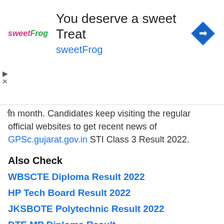[Figure (other): Advertisement banner for sweetFrog with text 'You deserve a sweet Treat' and 'sweetFrog' in blue, with logo and navigation icon]
in month. Candidates keep visiting the regular official websites to get recent news of GPSc.gujarat.gov.in STI Class 3 Result 2022.
Also Check
WBSCTE Diploma Result 2022
HP Tech Board Result 2022
JKSBOTE Polytechnic Result 2022
DTE MP Diploma Result